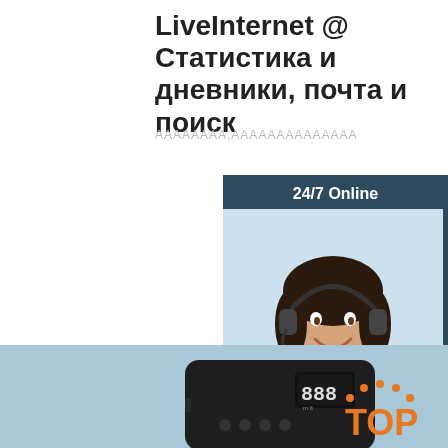LiveInternet @ Статистика и дневники, почта и поиск
АААААААА,АААААААААААААА
[Figure (illustration): Orange 'Get Price' button]
[Figure (illustration): 24/7 Online customer service chat panel with smiling woman wearing headset, 'Click here for free chat!' text, and orange QUOTATION button]
[Figure (photo): Product photo of a small black electronic device (laser distance meter) on a light blue/teal background, with an orange TOP badge in the bottom right corner]